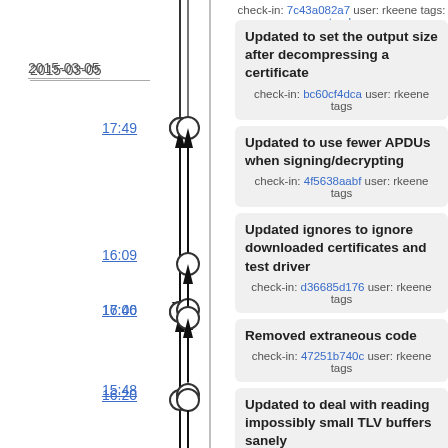check-in: 7c43a082a7 user: rkeene tags: trunk
2015-03-05
17:49
Updated to set the output size after decompressing a certificate
check-in: bc60cf4dca user: rkeene tags
17:40
Updated to use fewer APDUs when signing/decrypting
check-in: 4f5638aabf user: rkeene tags
16:20
Updated ignores to ignore downloaded certificates and test driver
check-in: d36685d176 user: rkeene tags
16:09
Removed extraneous code
check-in: 47251b740c user: rkeene tags
16:06
Updated to deal with reading impossibly small TLV buffers sanely
check-in: 614742ca67 user: rkeene tags
15:48
Added debugging to ASN.1 X.509 parser